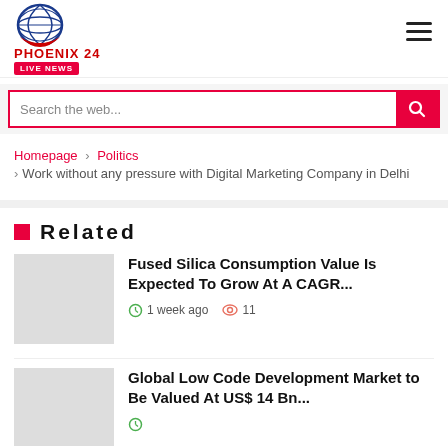PHOENIX 24 LIVE NEWS
Search the web...
Homepage › Politics › Work without any pressure with Digital Marketing Company in Delhi
Related
Fused Silica Consumption Value Is Expected To Grow At A CAGR...
1 week ago  11
Global Low Code Development Market to Be Valued At US$ 14 Bn...